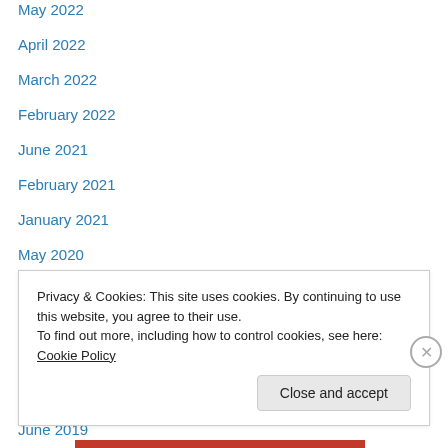May 2022
April 2022
March 2022
February 2022
June 2021
February 2021
January 2021
May 2020
April 2020
March 2020
October 2019
September 2019
June 2019
April 2019
Privacy & Cookies: This site uses cookies. By continuing to use this website, you agree to their use.
To find out more, including how to control cookies, see here: Cookie Policy
Close and accept